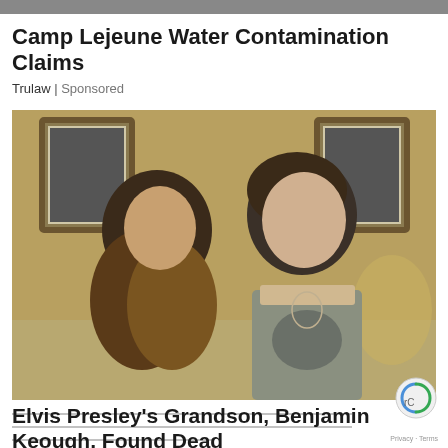[Figure (other): Top browser/app bar strip, dark gray]
Camp Lejeune Water Contamination Claims
Trulaw | Sponsored
[Figure (photo): Photo of a woman with long brown highlighted hair wearing black, leaning against a young man in a gray tank top, seated on a couch. Framed black-and-white photos visible on the wall behind them with a gold/green wallpaper background.]
Elvis Presley's Grandson, Benjamin Keough, Found Dead
Elvis Presley's grandson, Benjamin Keough, has di... a reported self-inflicted gunshot wound. The 27-year-old...